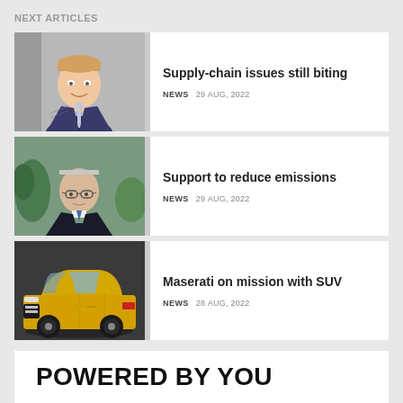NEXT ARTICLES
[Figure (photo): Photo of a young man in a suit and tie, smiling, against a grey background]
Supply-chain issues still biting
NEWS  29 AUG, 2022
[Figure (photo): Photo of a middle-aged man with glasses in a suit with tie, with plants in the background]
Support to reduce emissions
NEWS  29 AUG, 2022
[Figure (photo): Photo of a yellow Maserati SUV on a dark grey studio background]
Maserati on mission with SUV
NEWS  28 AUG, 2022
POWERED BY YOU